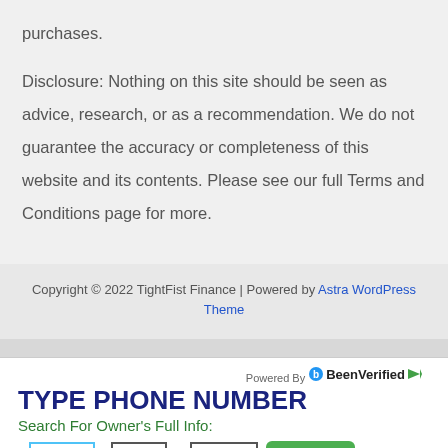purchases.
Disclosure: Nothing on this site should be seen as advice, research, or as a recommendation. We do not guarantee the accuracy or completeness of this website and its contents. Please see our full Terms and Conditions page for more.
Copyright © 2022 TightFist Finance | Powered by Astra WordPress Theme
[Figure (infographic): BeenVerified ad widget with phone number search form. Contains 'Powered By BeenVerified' logo, 'TYPE PHONE NUMBER' heading, 'Search For Owner's Full Info:' subheading, and a phone number input form with three fields and a Search button.]